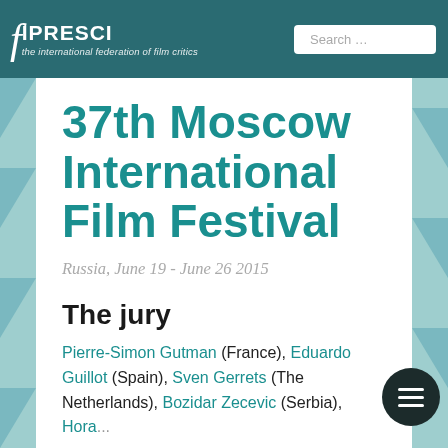FIPRESCI - the international federation of film critics | Search ...
37th Moscow International Film Festival
Russia, June 19 - June 26 2015
The jury
Pierre-Simon Gutman (France), Eduardo Guillot (Spain), Sven Gerrets (The Netherlands), Bozidar Zecevic (Serbia), ...